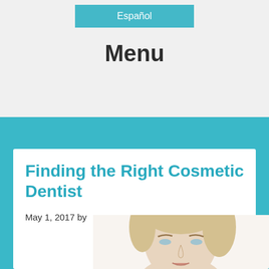Español
Menu
Finding the Right Cosmetic Dentist
May 1, 2017 by
[Figure (photo): Close-up photo of a young blonde woman's face, looking slightly upward, with a neutral/slight smile expression, against a white background]